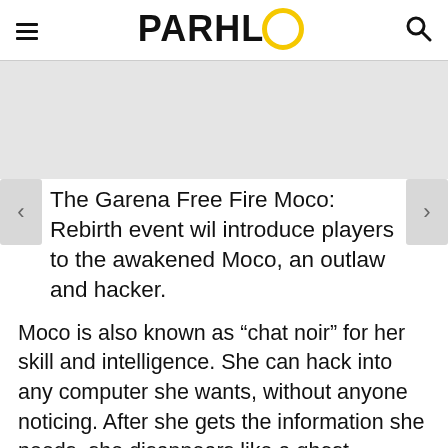PARHLO
[Figure (other): Gray banner/advertisement area]
The Garena Free Fire Moco: Rebirth event will introduce players to the awakened Moco, an outlaw and hacker.
Moco is also known as “chat noir” for her skill and intelligence. She can hack into any computer she wants, without anyone noticing. After she gets the information she needs, she disappears like a ghost.